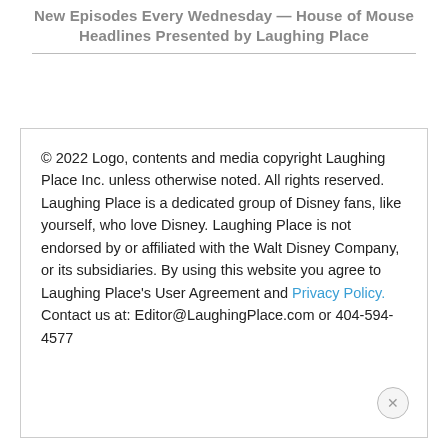New Episodes Every Wednesday — House of Mouse Headlines Presented by Laughing Place
© 2022 Logo, contents and media copyright Laughing Place Inc. unless otherwise noted. All rights reserved. Laughing Place is a dedicated group of Disney fans, like yourself, who love Disney. Laughing Place is not endorsed by or affiliated with the Walt Disney Company, or its subsidiaries. By using this website you agree to Laughing Place's User Agreement and Privacy Policy. Contact us at: Editor@LaughingPlace.com or 404-594-4577